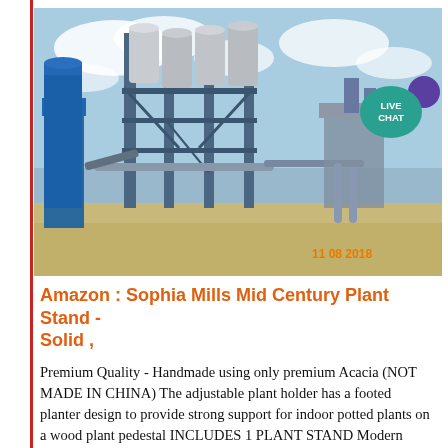[Figure (photo): Industrial plant facility with large silos and blue steel framework structure, taken outdoors under a cloudy sky. Date stamp: 11 08 2018. A 'LIVE CHAT' bubble overlaid in the top right corner.]
Amazon : Sophia Mills Mid Century Plant Stand - Solid ,
Premium Quality - Handmade using only premium Acacia (NOT MADE IN CHINA) The adjustable plant holder has a footed planter design to provide strong support for indoor potted plants on a wood plant pedestal INCLUDES 1 PLANT STAND Modern Design - Modern Furniture takes inspiration from midcentury, rustic, boho, bohemian, trendy and minimalist